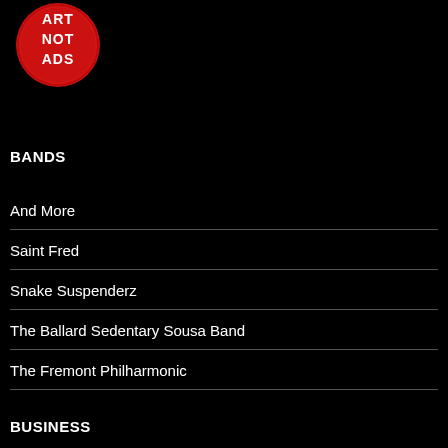[Figure (logo): Circular red logo with white text reading ART NOT ADS]
BANDS
And More
Saint Fred
Snake Suspenderz
The Ballard Sedentary Sousa Band
The Fremont Philharmonic
BUSINESS